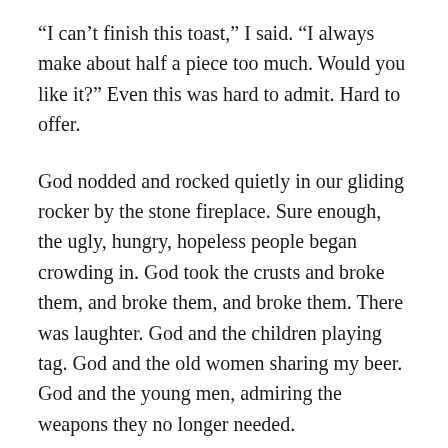“I can’t finish this toast,” I said. “I always make about half a piece too much. Would you like it?” Even this was hard to admit. Hard to offer.
God nodded and rocked quietly in our gliding rocker by the stone fireplace. Sure enough, the ugly, hungry, hopeless people began crowding in. God took the crusts and broke them, and broke them, and broke them. There was laughter. God and the children playing tag. God and the old women sharing my beer. God and the young men, admiring the weapons they no longer needed.
“Such abundance,” God said. “Such ingenuity. And with time, you’ll do even better.”